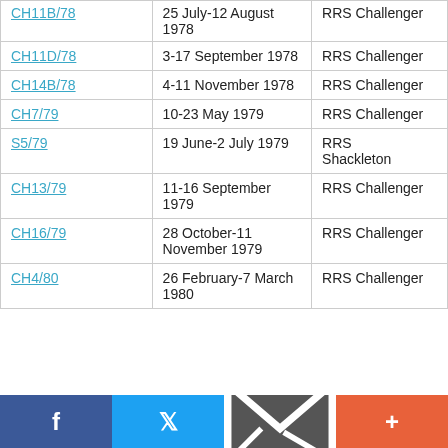| Cruise | Dates | Vessel |
| --- | --- | --- |
| CH11B/78 | 25 July-12 August 1978 | RRS Challenger |
| CH11D/78 | 3-17 September 1978 | RRS Challenger |
| CH14B/78 | 4-11 November 1978 | RRS Challenger |
| CH7/79 | 10-23 May 1979 | RRS Challenger |
| S5/79 | 19 June-2 July 1979 | RRS Shackleton |
| CH13/79 | 11-16 September 1979 | RRS Challenger |
| CH16/79 | 28 October-11 November 1979 | RRS Challenger |
| CH4/80 | 26 February-7 March 1980 | RRS Challenger |